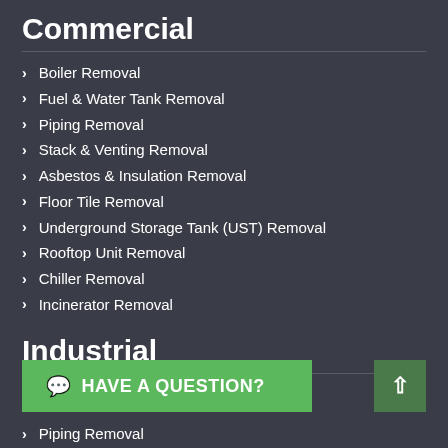Commercial
Boiler Removal
Fuel & Water Tank Removal
Piping Removal
Stack & Venting Removal
Asbestos & Insulation Removal
Floor Tile Removal
Underground Storage Tank (UST) Removal
Rooftop Unit Removal
Chiller Removal
Incinerator Removal
Industrial
HAVE A QUESTION?
Piping Removal